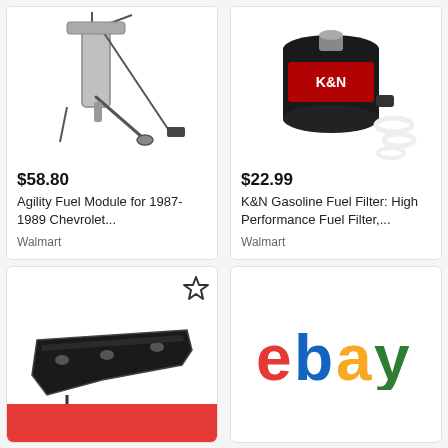[Figure (photo): Agility fuel module/pump assembly for 1987-1989 Chevrolet, showing the pump mechanism with wiring]
$58.80
Agility Fuel Module for 1987-1989 Chevrolet...
Walmart
[Figure (photo): K&N Gasoline Fuel Filter PF-1200, a black cylindrical filter with white o-rings]
$22.99
K&N Gasoline Fuel Filter: High Performance Fuel Filter,...
Walmart
[Figure (photo): Black metal bracket/hinge automotive part with mounting holes, with a star (favorite) icon in the top right]
[Figure (logo): eBay logo in red, blue, yellow, and green letters]